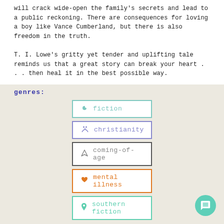will crack wide-open the family's secrets and lead to a public reckoning. There are consequences for loving a boy like Vance Cumberland, but there is also freedom in the truth.

T. I. Lowe's gritty yet tender and uplifting tale reminds us that a great story can break your heart . . . then heal it in the best possible way.
Genres:
[Figure (infographic): Genre badges: fiction (teal moon icon), christianity (purple people/church icon), coming-of-age (dark send/paper-plane icon), mental illness (orange heart icon), southern fiction (teal location pin icon)]
My Review: